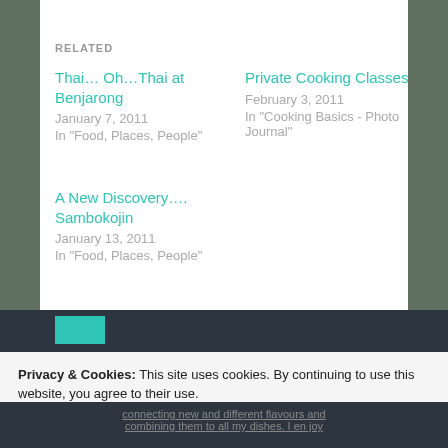RELATED
Thai… Oh…Thai at Benjarong
January 7, 2011
In "Food, Places, People"
Private Cooking Classes
February 3, 2011
In "Cooking Basics - Photo Journal"
A New Discovery…. Sambokojin
January 13, 2011
In "Food, Places, People"
Privacy & Cookies: This site uses cookies. By continuing to use this website, you agree to their use.
To find out more, including how to control cookies, see here: Cookie Policy
Close and accept
connecting new and different flavours and combining them to all my dishes. I en joy